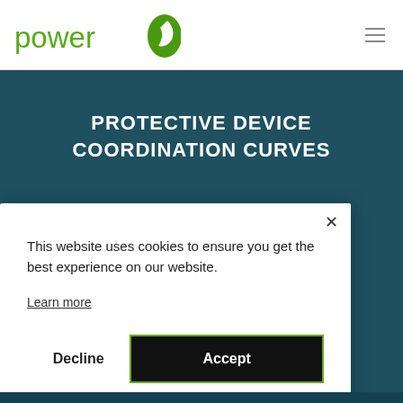power [logo]
PROTECTIVE DEVICE COORDINATION CURVES
This website uses cookies to ensure you get the best experience on our website.
Learn more
Decline
Accept